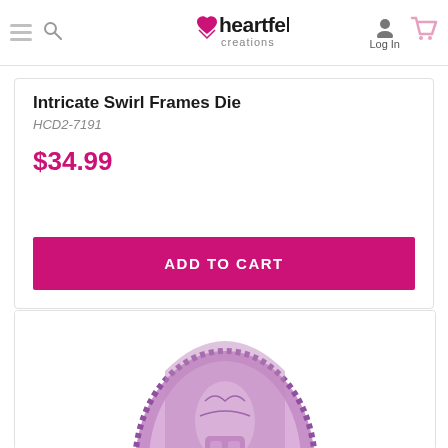Heartfelt Creations — navigation header with logo, hamburger menu, search, login, and cart icons
Intricate Swirl Frames Die
HCD2-7191
$34.99
ADD TO CART
[Figure (photo): Partially visible product image showing an ornate purple oval die-cut stamp with intricate swirl and floral patterns]